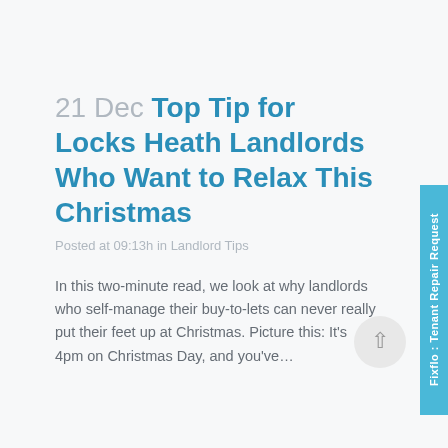21 Dec Top Tip for Locks Heath Landlords Who Want to Relax This Christmas
Posted at 09:13h in Landlord Tips
In this two-minute read, we look at why landlords who self-manage their buy-to-lets can never really put their feet up at Christmas. Picture this: It's 4pm on Christmas Day, and you've...